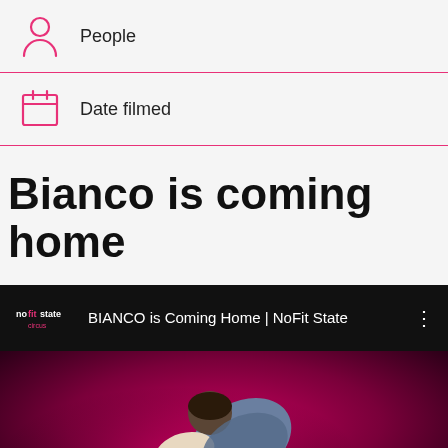People
Date filmed
Bianco is coming home
[Figure (screenshot): YouTube-style video thumbnail showing 'BIANCO is Coming Home | NoFit State' with NoFit State Circus logo, video menu dots, and a performer image below on a dark red/magenta background]